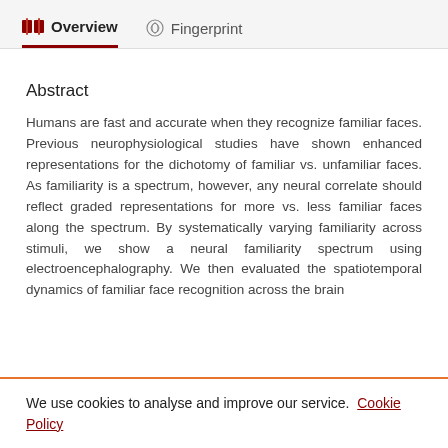Overview   Fingerprint
Abstract
Humans are fast and accurate when they recognize familiar faces. Previous neurophysiological studies have shown enhanced representations for the dichotomy of familiar vs. unfamiliar faces. As familiarity is a spectrum, however, any neural correlate should reflect graded representations for more vs. less familiar faces along the spectrum. By systematically varying familiarity across stimuli, we show a neural familiarity spectrum using electroencephalography. We then evaluated the spatiotemporal dynamics of familiar face recognition across the brain
We use cookies to analyse and improve our service. Cookie Policy